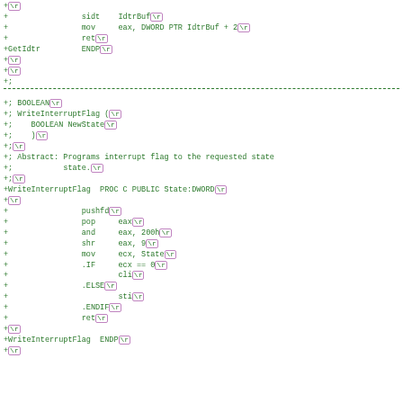Assembly source code diff showing GetIdtr and WriteInterruptFlag procedures